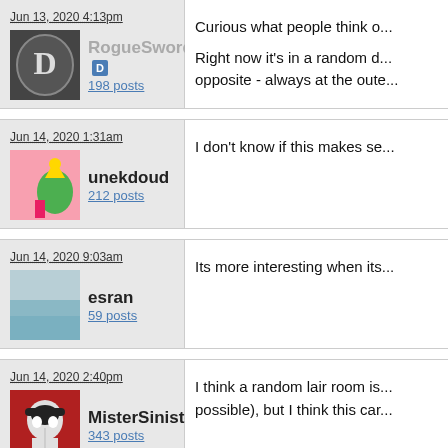Jun 13, 2020 4:13pm
RogueSword 198 posts
Curious what people think o...
Right now it's in a random d... opposite - always at the oute...
Jun 14, 2020 1:31am
unekdoud 212 posts
I don't know if this makes se...
Jun 14, 2020 9:03am
esran 59 posts
Its more interesting when its...
Jun 14, 2020 2:40pm
MisterSinister 343 posts
I think a random lair room is... possible), but I think this car...
Jun 14, 2020 11:0...